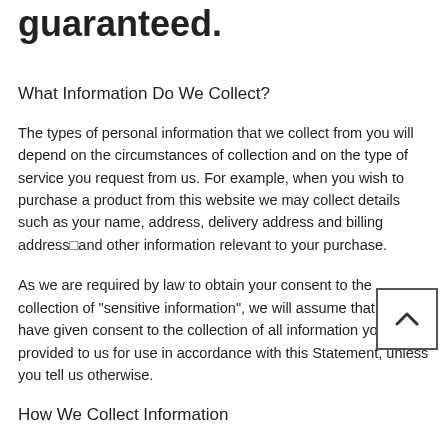guaranteed.
What Information Do We Collect?
The types of personal information that we collect from you will depend on the circumstances of collection and on the type of service you request from us. For example, when you wish to purchase a product from this website we may collect details such as your name, address, delivery address and billing address□and other information relevant to your purchase.
As we are required by law to obtain your consent to the collection of "sensitive information", we will assume that you have given consent to the collection of all information you have provided to us for use in accordance with this Statement, unless you tell us otherwise.
How We Collect Information
We may collect personal information about you when you visit our website, when you deal with us over the Email, we will not collect any personal information without your consent. We consider that your consent is granted when you complete the fields necessary to facilitate a transaction through this